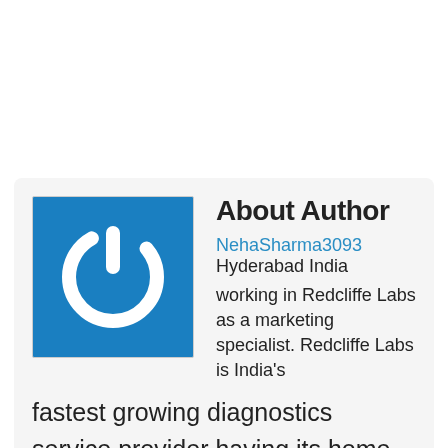[Figure (logo): Blue square with white power button icon]
About Author
NehaSharma3093 Hyderabad India working in Redcliffe Labs as a marketing specialist. Redcliffe Labs is India's fastest growing diagnostics service provider having its home sample collection service in more than 60 cities